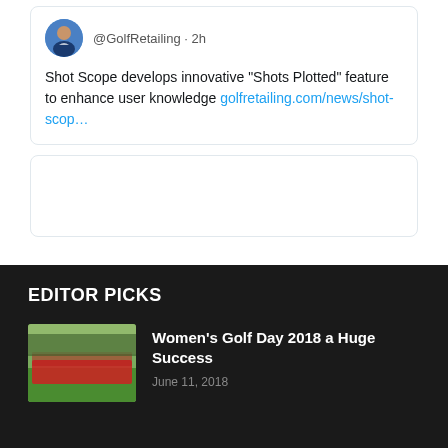[Figure (photo): Twitter/X profile avatar showing a man in a blue jacket]
@GolfRetailing · 2h
Shot Scope develops innovative “Shots Plotted” feature to enhance user knowledge golfretailing.com/news/shot-scop…
[Figure (screenshot): Empty tweet card / link preview box]
EDITOR PICKS
[Figure (photo): Women's Golf Day 2018 group photo showing golfers in red shirts on a green course]
Women's Golf Day 2018 a Huge Success
June 11, 2018